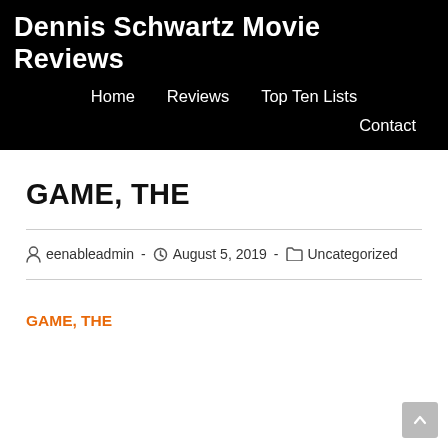Dennis Schwartz Movie Reviews
Home  Reviews  Top Ten Lists  Contact
GAME, THE
eenableadmin · August 5, 2019 · Uncategorized
GAME, THE